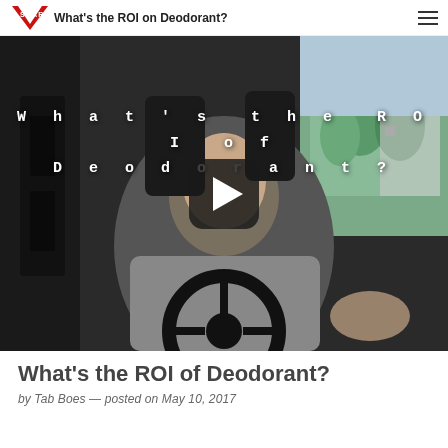What's the ROI on Deodorant?
[Figure (screenshot): Video thumbnail showing a bald man sitting in the driver's seat of a car, holding the steering wheel. Text overlay reads 'What's the ROI of Deodorant?' in spaced monospace font with a play button in the center.]
What's the ROI of Deodorant?
by Tab Boes — posted on May 10, 2017